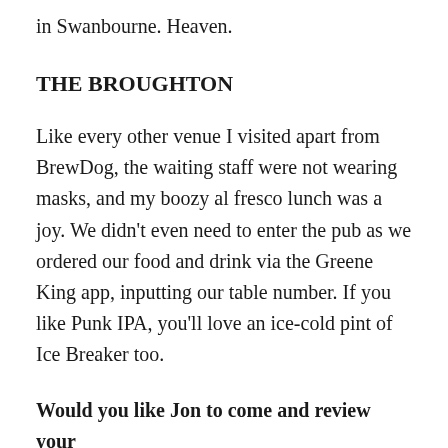in Swanbourne. Heaven.
THE BROUGHTON
Like every other venue I visited apart from BrewDog, the waiting staff were not wearing masks, and my boozy al fresco lunch was a joy. We didn’t even need to enter the pub as we ordered our food and drink via the Greene King app, inputting our table number. If you like Punk IPA, you’ll love an ice-cold pint of Ice Breaker too.
Would you like Jon to come and review your